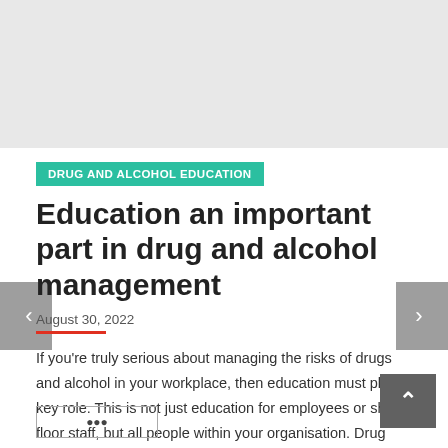[Figure (other): Gray banner/header placeholder area at top of page]
DRUG AND ALCOHOL EDUCATION
Education an important part in drug and alcohol management
August 30, 2022
If you're truly serious about managing the risks of drugs and alcohol in your workplace, then education must play a key role. This is not just education for employees or shop floor staff, but all people within your organisation. Drug and alcohol education for employees Educating employees about the dangers...